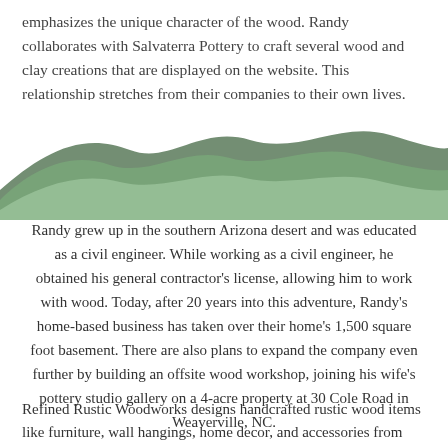emphasizes the unique character of the wood. Randy collaborates with Salvaterra Pottery to craft several wood and clay creations that are displayed on the website. This relationship stretches from their companies to their own lives. Sue, the owner of Salvaterra Pottery, is Randy's wife and also his biggest fan. Together, they create their unique pieces.
[Figure (illustration): Rolling green mountain hills illustration with layered wave shapes in dark and light green tones]
Randy grew up in the southern Arizona desert and was educated as a civil engineer. While working as a civil engineer, he obtained his general contractor's license, allowing him to work with wood. Today, after 20 years into this adventure, Randy's home-based business has taken over their home's 1,500 square foot basement. There are also plans to expand the company even further by building an offsite wood workshop, joining his wife's pottery studio gallery on a 4-acre property at 30 Cole Road in Weaverville, NC.
Refined Rustic Woodworks designs handcrafted rustic wood items like furniture, wall hangings, home decor, and accessories from wood sourced in the local area. Since 2017, we have been...